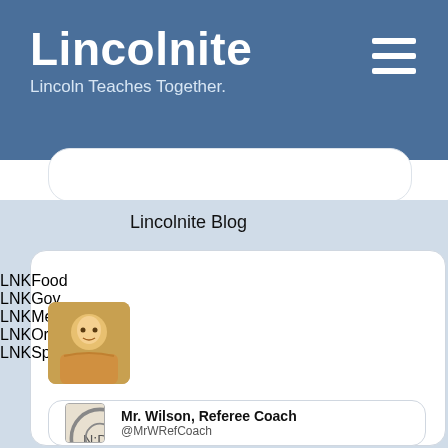Lincolnite
Lincoln Teaches Together.
Lincolnite Blog
LNKArts
LNKBiz
LNKFood
LNKGov
LNKMedia
LNKOrg
LNKSports
Brent C. Wilson
@MrWilson
Mr. Wilson, Referee Coach
@MrWRefCoach